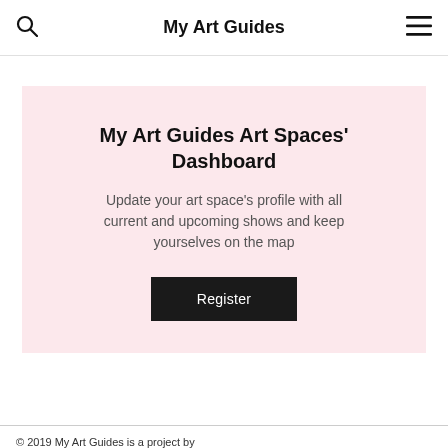My Art Guides
My Art Guides Art Spaces' Dashboard
Update your art space's profile with all current and upcoming shows and keep yourselves on the map
Register
© 2019 My Art Guides is a project by